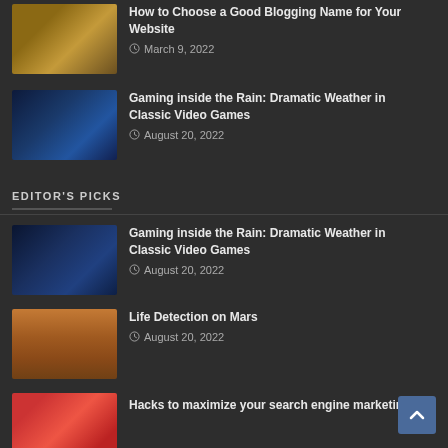How to Choose a Good Blogging Name for Your Website — March 9, 2022
Gaming inside the Rain: Dramatic Weather in Classic Video Games — August 20, 2022
EDITOR'S PICKS
Gaming inside the Rain: Dramatic Weather in Classic Video Games — August 20, 2022
Life Detection on Mars — August 20, 2022
Hacks to maximize your search engine marketing